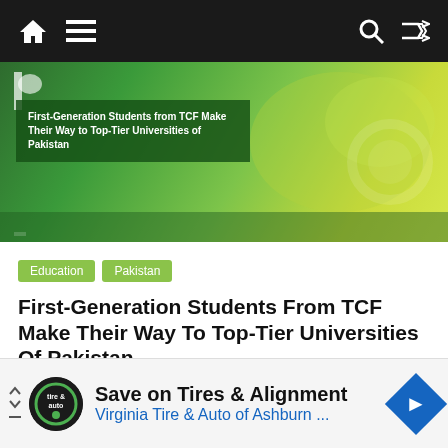Navigation bar with home, menu, search, and shuffle icons
[Figure (photo): Hero banner image with green/yellow gradient background and text overlay reading: First-Generation Students from TCF Make Their Way to Top-Tier Universities of Pakistan]
Education
Pakistan
First-Generation Students From TCF Make Their Way To Top-Tier Universities Of Pakistan
August 16, 2020  Kaleem Naqvi  First-Generation, Pakistan, students, TCF, Top-Tier, universities
As university admissions begin throughout the country, deserving graduates from The Citizens Foundation (TCF) schools from all over Pakistan are
[Figure (infographic): Advertisement: Save on Tires & Alignment - Virginia Tire & Auto of Ashburn ...]